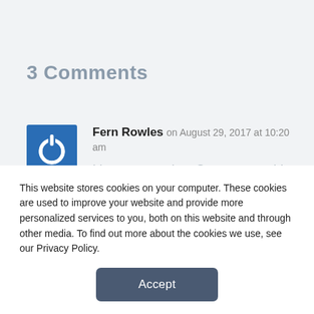3 Comments
[Figure (illustration): Blue square avatar icon with a white power/on button symbol]
Fern Rowles on August 29, 2017 at 10:20 am
I have a question. Can you use this hearing aid with you TV and into which connection is it plug into and what does your TV have to have?
This website stores cookies on your computer. These cookies are used to improve your website and provide more personalized services to you, both on this website and through other media. To find out more about the cookies we use, see our Privacy Policy.